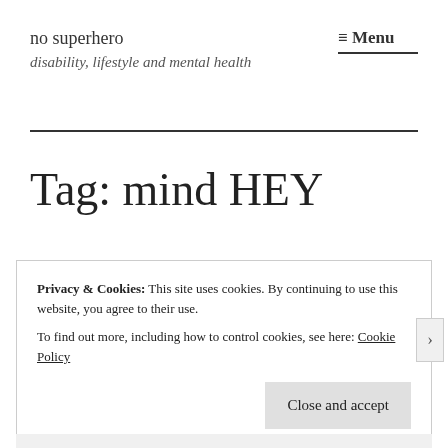no superhero
disability, lifestyle and mental health
≡ Menu
Tag: mind HEY
Privacy & Cookies: This site uses cookies. By continuing to use this website, you agree to their use.
To find out more, including how to control cookies, see here: Cookie Policy
Close and accept